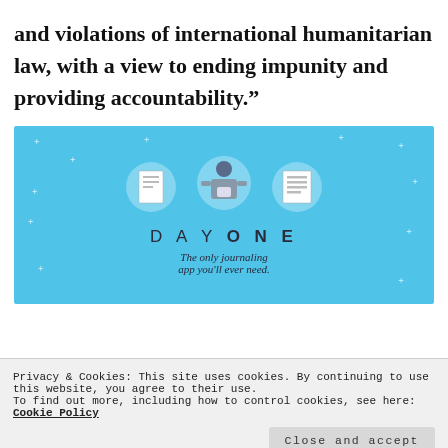and violations of international humanitarian law, with a view to ending impunity and providing accountability.”
[Figure (illustration): Advertisement for Day One journaling app on a blue background with illustrated icons of a notebook, a person, and a list, with text 'DAY ONE – The only journaling app you'll ever need.']
Privacy & Cookies: This site uses cookies. By continuing to use this website, you agree to their use.
To find out more, including how to control cookies, see here: Cookie Policy
The call on the UN to investigate Saudi Arabia’s abuses